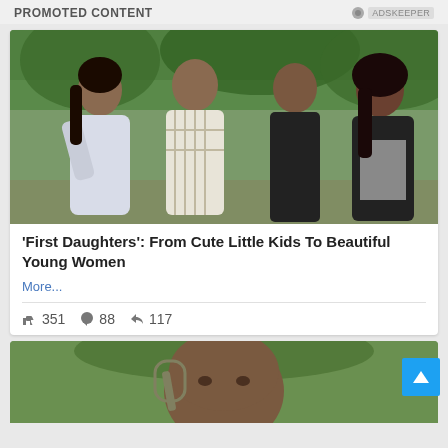PROMOTED CONTENT
[Figure (photo): Family photo of four people posing together outdoors in front of trees]
'First Daughters': From Cute Little Kids To Beautiful Young Women
More...
351  88  117
[Figure (photo): Close-up partial photo of a man's face outdoors]